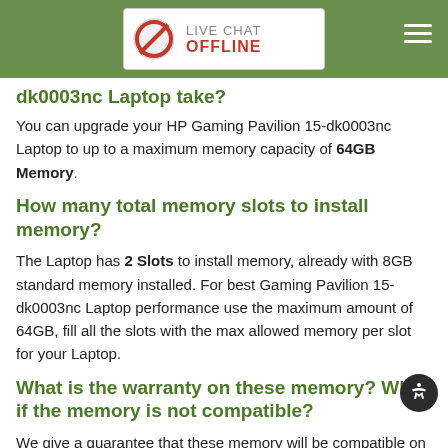LIVE CHAT OFFLINE
dk0003nc Laptop take?
You can upgrade your HP Gaming Pavilion 15-dk0003nc Laptop to up to a maximum memory capacity of 64GB Memory.
How many total memory slots to install memory?
The Laptop has 2 Slots to install memory, already with 8GB standard memory installed. For best Gaming Pavilion 15-dk0003nc Laptop performance use the maximum amount of 64GB, fill all the slots with the max allowed memory per slot for your Laptop.
What is the warranty on these memory? What if the memory is not compatible?
We give a guarantee that these memory will be compatible on your Gaming Pavilion 15-dk0003nc Laptop. If you have any issues, we provide you with a life-time replacement warranty. We have a 14 days return policy, and you can return the memory if you are not